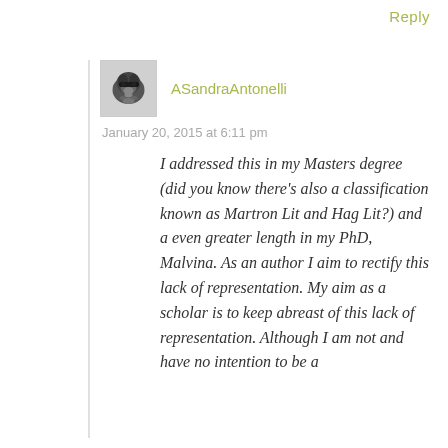Reply
[Figure (photo): Avatar image of a dog wearing sunglasses, black and white photo]
ASandraAntonelli
January 20, 2015 at 6:11 pm
I addressed this in my Masters degree (did you know there's also a classification known as Martron Lit and Hag Lit?) and a even greater length in my PhD, Malvina. As an author I aim to rectify this lack of representation. My aim as a scholar is to keep abreast of this lack of representation. Although I am not and have no intention to be a